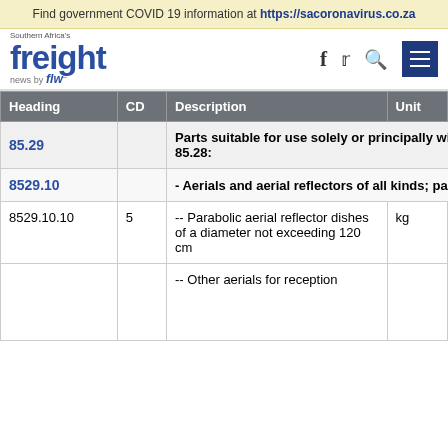Find government COVID 19 information at https://sacoronavirus.co.za
[Figure (logo): Southern Africa's Freight News by FLW logo with navigation icons (Facebook, Twitter, Search, Menu)]
| Heading | CD | Description | Unit | General | EU | EFTA | SA |
| --- | --- | --- | --- | --- | --- | --- | --- |
| 85.29 |  | Parts suitable for use solely or principally with the apparatus of headings 85.25 to 85.28: |  |  |  |  |  |
| 8529.10 |  | - Aerials and aerial reflectors of all kinds; parts suitable for use therewith: |  |  |  |  |  |
| 8529.10.10 | 5 | -- Parabolic aerial reflector dishes of a diameter not exceeding 120 cm | kg | 10% | free | free | fre |
|  |  | -- Other aerials for reception |  |  |  |  |  |